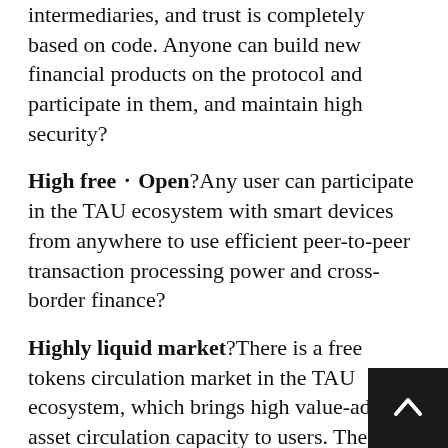intermediaries, and trust is completely based on code. Anyone can build new financial products on the protocol and participate in them, and maintain high security🔒
High free・Open🔒Any user can participate in the TAU ecosystem with smart devices from anywhere to use efficient peer-to-peer transaction processing power and cross-border finance🔒
Highly liquid market🔒There is a free tokens circulation market in the TAU ecosystem, which brings high value-added asset circulation capacity to users. The more users participate, the greater the market potential🔒
Sustainable and circular ecology🔒With sustainable smart contracts, TAU has built a self-clearing and recycling system within the ecosystem.